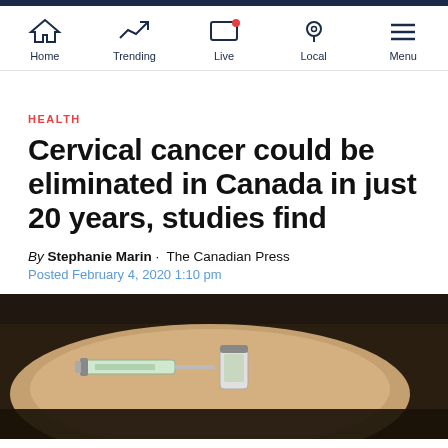Home · Trending · Live · Local · Menu
HEALTH
Cervical cancer could be eliminated in Canada in just 20 years, studies find
By Stephanie Marin · The Canadian Press
Posted February 4, 2020 1:10 pm
[Figure (photo): A hand holding a syringe and a small medical vial, suggesting a vaccine or injection.]